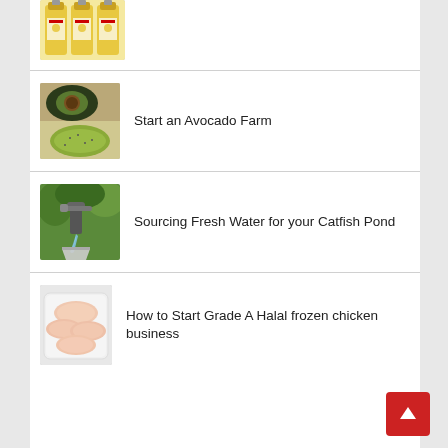[Figure (photo): Partial view of cooking oil bottles at top of page]
[Figure (photo): Avocado halves with seasoning on a white surface]
Start an Avocado Farm
[Figure (photo): Old hand water pump with water flowing into a bucket]
Sourcing Fresh Water for your Catfish Pond
[Figure (photo): Raw chicken breasts in a white plastic tray]
How to Start Grade A Halal frozen chicken business